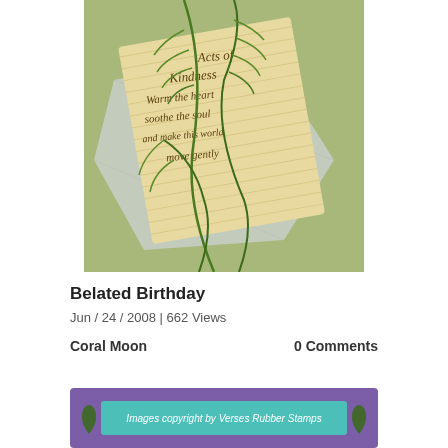[Figure (photo): A handmade greeting card on a sage green background. A corrugated cardboard piece is arranged diagonally, with ferns and plant sprigs decorating it. Handwritten text on the cardboard reads: Acts of Kindness Warm the heart soothe the soul and make this world move gently]
Belated Birthday
Jun / 24 / 2008 | 662 Views
Coral Moon
0 Comments
[Figure (illustration): Purple banner with teal/aqua ribbon strip containing text: Images copyright by Verses Rubber Stamps, with decorative leaf motifs on each side]